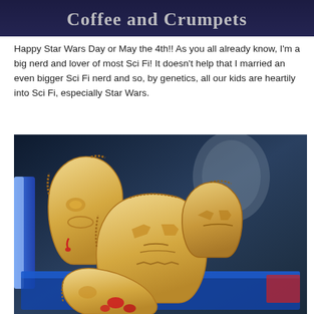[Figure (illustration): Blog header banner with dark navy/blue-purple background and the text 'Coffee and Crumpets' in large white serif font]
Happy Star Wars Day or May the 4th!! As you all already know, I'm a big nerd and lover of most Sci Fi! It doesn't help that I married an even bigger Sci Fi nerd and so, by genetics, all our kids are heartily into Sci Fi, especially Star Wars.
[Figure (photo): A close-up photo of hand pies shaped and decorated to look like Star Wars characters (including what appears to be a Stormtrooper and another character), arranged in a baking tray with Star Wars imagery visible in the background. The pies are golden-brown pastry with crimped edges and molded facial features, with red jam/filling visible in places.]